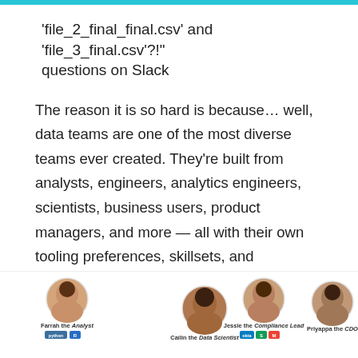'file_2_final_final.csv' and 'file_3_final.csv'?!" questions on Slack
The reason it is so hard is because… well, data teams are one of the most diverse teams ever created. They're built from analysts, engineers, analytics engineers, scientists, business users, product managers, and more — all with their own tooling preferences, skillsets, and limitations. The result is a mess of collaboration overhead and data chaos.
[Figure (illustration): Illustration showing four team member personas: Farrah the Analyst (Python, R), Cailin the Data Scientist (partial), Jessie the Compliance Lead (Okta, Sheets, Gmail), and Priyappa the CDO (partial), each with avatar photo and tool tags.]